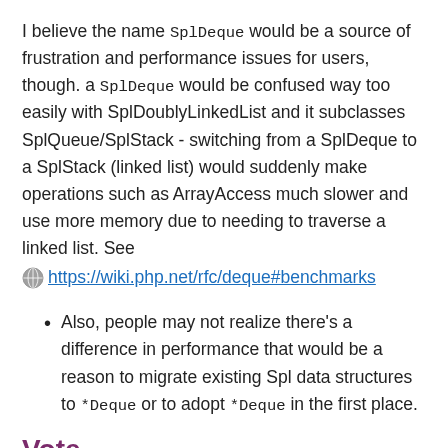I believe the name SplDeque would be a source of frustration and performance issues for users, though. a SplDeque would be confused way too easily with SplDoublyLinkedList and it subclasses SplQueue/SplStack - switching from a SplDeque to a SplStack (linked list) would suddenly make operations such as ArrayAccess much slower and use more memory due to needing to traverse a linked list. See https://wiki.php.net/rfc/deque#benchmarks
Also, people may not realize there's a difference in performance that would be a reason to migrate existing Spl data structures to *Deque or to adopt *Deque in the first place.
Vote